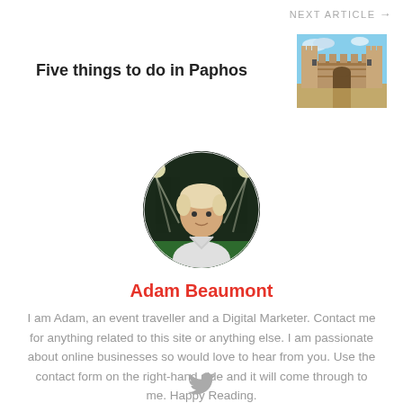NEXT ARTICLE →
Five things to do in Paphos
[Figure (photo): Thumbnail photo of an ancient stone castle/fortress in Paphos, Cyprus under a blue sky]
[Figure (photo): Circular avatar photo of Adam Beaumont, a man with light hair, at a stadium with bright lights]
Adam Beaumont
I am Adam, an event traveller and a Digital Marketer. Contact me for anything related to this site or anything else. I am passionate about online businesses so would love to hear from you. Use the contact form on the right-hand side and it will come through to me. Happy Reading.
[Figure (logo): Twitter bird icon]